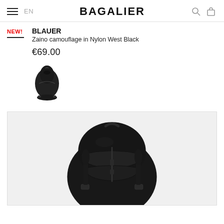BAGALIER
NEW!
BLAUER
Zaino camouflage in Nylon West Black
€69.00
[Figure (photo): Small thumbnail of a black nylon backpack from Blauer, front view]
[Figure (photo): Large main product photo of a black Blauer nylon backpack (Zaino camouflage West Black), front view showing multiple zip compartments and buckle straps]